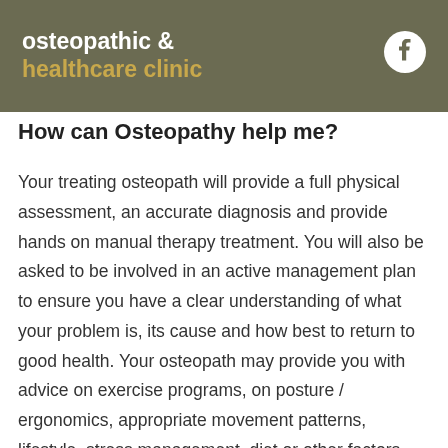osteopathic & healthcare clinic
How can Osteopathy help me?
Your treating osteopath will provide a full physical assessment, an accurate diagnosis and provide hands on manual therapy treatment. You will also be asked to be involved in an active management plan to ensure you have a clear understanding of what your problem is, its cause and how best to return to good health. Your osteopath may provide you with advice on exercise programs, on posture / ergonomics, appropriate movement patterns, lifestyle, stress management, diet or other factors that may be